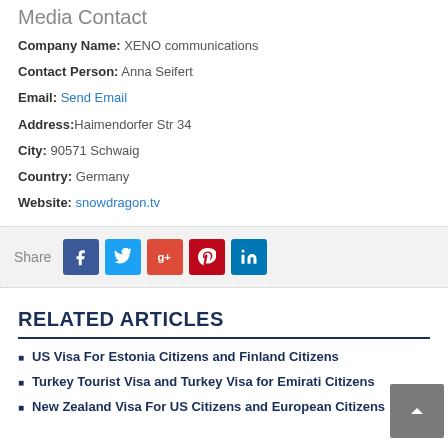Media Contact
Company Name: XENO communications
Contact Person: Anna Seifert
Email: Send Email
Address: Haimendorfer Str 34
City: 90571 Schwaig
Country: Germany
Website: snowdragon.tv
[Figure (infographic): Share buttons for Facebook, Twitter, Google+, Pinterest, LinkedIn]
RELATED ARTICLES
US Visa For Estonia Citizens and Finland Citizens
Turkey Tourist Visa and Turkey Visa for Emirati Citizens
New Zealand Visa For US Citizens and European Citizens